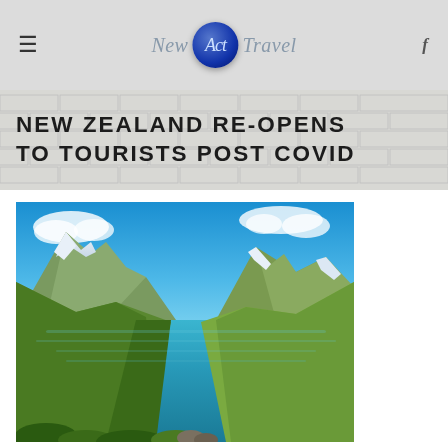New Act Travel
NEW ZEALAND RE-OPENS TO TOURISTS POST COVID
[Figure (photo): Scenic New Zealand landscape showing a turquoise mountain lake reflecting green hills and snow-capped mountains under a blue sky with clouds]